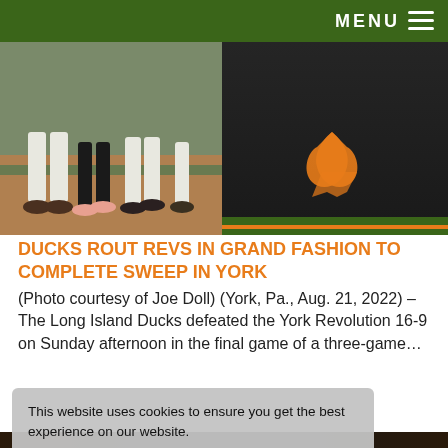MENU ≡
[Figure (photo): Baseball players' legs and feet on dirt field (left half); dark jersey with orange duck logo and green/orange stripe (right half)]
DUCKS ROUT REVS IN GRAND FASHION TO COMPLETE SWEEP IN YORK
(Photo courtesy of Joe Doll) (York, Pa., Aug. 21, 2022) – The Long Island Ducks defeated the York Revolution 16-9 on Sunday afternoon in the final game of a three-game…
This website uses cookies to ensure you get the best experience on our website.
Learn more
Got it!
[Figure (photo): Baseball players celebrating, Ducks and Revolution logos visible]